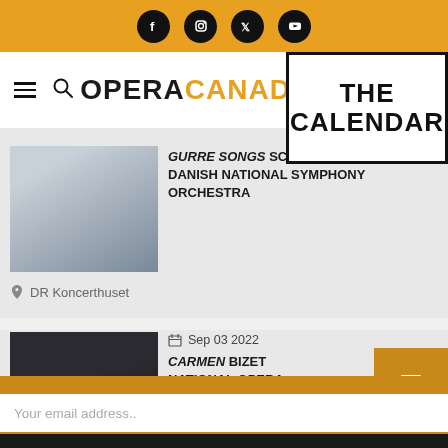Social media icons: Facebook, Instagram, Twitter, YouTube
[Figure (screenshot): Opera Canada website navigation bar with hamburger menu, search icon, OPERACANADA logo, and THE CALENDAR box overlay]
[Figure (photo): Photo of a man in suit - performer for GURRE SONGS SCHOENBERG, Danish National Symphony Orchestra]
GURRE SONGS SCHÖNBERG DANISH NATIONAL SYMPHONY ORCHESTRA
DR Koncerthuset
Sep 03 2022
[Figure (photo): Photo of a man with instrument - performer for CARMEN BIZET, National Opera (Netherlands)]
CARMEN BIZET NATIONAL OPERA (NETHERLANDS)
Sign-up now! Get the latest Canadian opera news.
Your email address..
Sign-Up